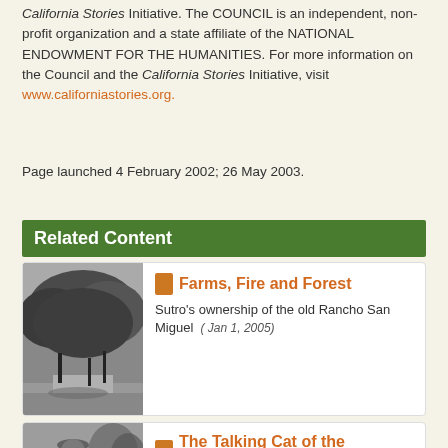California Stories Initiative. The COUNCIL is an independent, non-profit organization and a state affiliate of the NATIONAL ENDOWMENT FOR THE HUMANITIES. For more information on the Council and the California Stories Initiative, visit www.californiastories.org.
Page launched 4 February 2002; 26 May 2003.
Related Content
[Figure (photo): Black and white photograph of trees and a road, Sutro Forest area]
Farms, Fire and Forest
Sutro's ownership of the old Rancho San Miguel (Jan 1, 2005)
[Figure (photo): Black and white photograph of a person with Artic text overlay]
The Talking Cat of the Ingleside District